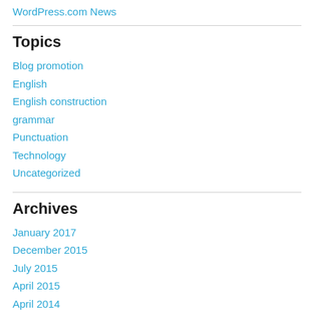WordPress.com News
Topics
Blog promotion
English
English construction
grammar
Punctuation
Technology
Uncategorized
Archives
January 2017
December 2015
July 2015
April 2015
April 2014